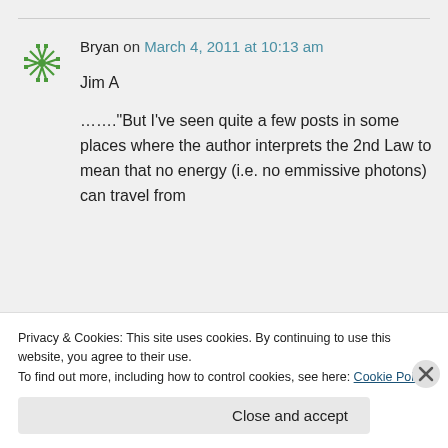Bryan on March 4, 2011 at 10:13 am
Jim A

......."But I've seen quite a few posts in some places where the author interprets the 2nd Law to mean that no energy (i.e. no emmissive photons) can travel from
Privacy & Cookies: This site uses cookies. By continuing to use this website, you agree to their use.
To find out more, including how to control cookies, see here: Cookie Policy
Close and accept